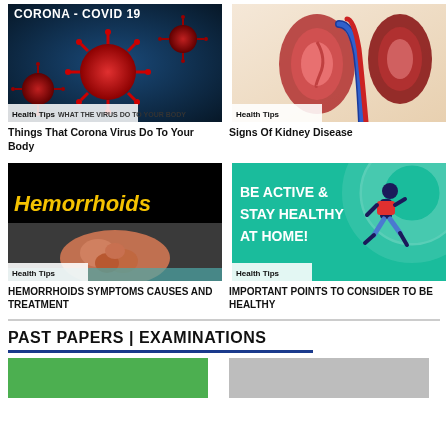[Figure (illustration): Corona COVID-19 virus illustration with text 'CORONA - COVID 19' and 'Health Tips WHAT THE VIRUS DO TO YOUR BODY']
Things That Corona Virus Do To Your Body
[Figure (illustration): Anatomical illustration of kidneys with 'Health Tips' badge]
Signs Of Kidney Disease
[Figure (illustration): Hemorrhoids medical illustration with 'Hemorrhoids' title text and 'Health Tips' badge]
HEMORRHOIDS SYMPTOMS CAUSES AND TREATMENT
[Figure (illustration): Be Active & Stay Healthy At Home infographic with running figure and 'Health Tips' badge]
IMPORTANT POINTS TO CONSIDER TO BE HEALTHY
PAST PAPERS | EXAMINATIONS
[Figure (illustration): Green thumbnail image at bottom left]
[Figure (illustration): Thumbnail image at bottom right]